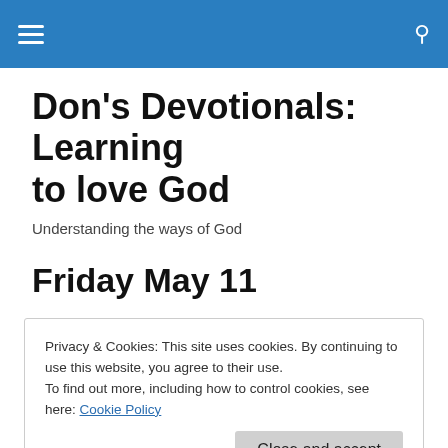Don's Devotionals: Learning to love God [navigation bar with hamburger menu and search icon]
Don's Devotionals: Learning to love God
Understanding the ways of God
Friday May 11
Psalm 116:15  Precious in the sight of the Lord is the
Privacy & Cookies: This site uses cookies. By continuing to use this website, you agree to their use.
To find out more, including how to control cookies, see here: Cookie Policy
Close and accept
this week that he passed away 3 years ago at the age of